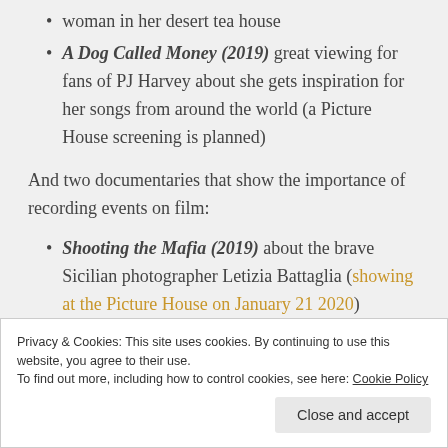woman in her desert tea house
A Dog Called Money (2019) great viewing for fans of PJ Harvey about she gets inspiration for her songs from around the world (a Picture House screening is planned)
And two documentaries that show the importance of recording events on film:
Shooting the Mafia (2019) about the brave Sicilian photographer Letizia Battaglia (showing at the Picture House on January 21 2020)
Privacy & Cookies: This site uses cookies. By continuing to use this website, you agree to their use. To find out more, including how to control cookies, see here: Cookie Policy